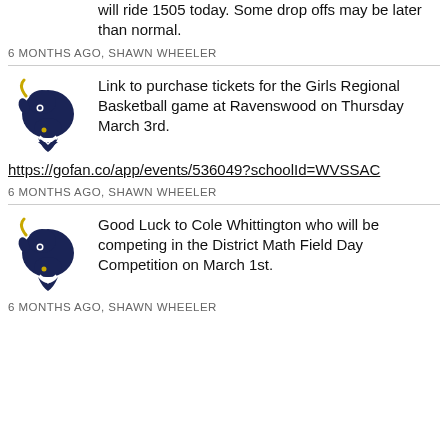will ride 1505 today. Some drop offs may be later than normal.
6 MONTHS AGO, SHAWN WHEELER
[Figure (logo): School mascot logo — navy and gold bison/buffalo head]
Link to purchase tickets for the Girls Regional Basketball game at Ravenswood on Thursday March 3rd.
https://gofan.co/app/events/536049?schoolId=WVSSAC
6 MONTHS AGO, SHAWN WHEELER
[Figure (logo): School mascot logo — navy and gold bison/buffalo head]
Good Luck to Cole Whittington who will be competing in the District Math Field Day Competition on March 1st.
6 MONTHS AGO, SHAWN WHEELER